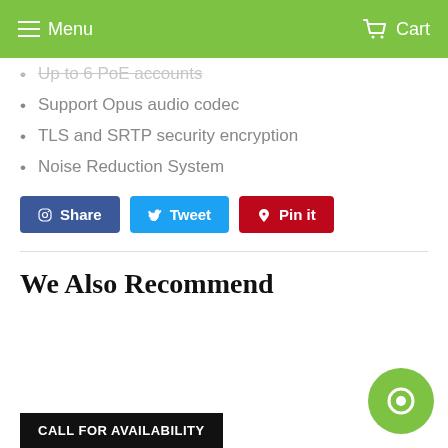Menu  Cart
Up to 6 PoE accounts
Support Opus audio codec
TLS and SRTP security encryption
Noise Reduction System
Share  Tweet  Pin it
We Also Recommend
CALL FOR AVAILABILITY